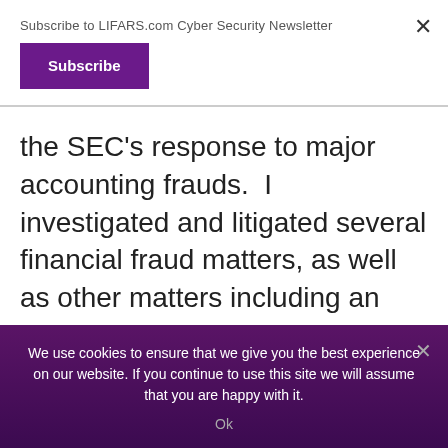Subscribe to LIFARS.com Cyber Security Newsletter
Subscribe
the SEC's response to major accounting frauds.  I investigated and litigated several financial fraud matters, as well as other matters including an emergency stop order action and a Ponzi scheme.

In 2009, the SEC created the Office of Market Intelligence (OMI) and became of
We use cookies to ensure that we give you the best experience on our website. If you continue to use this site we will assume that you are happy with it.
Ok